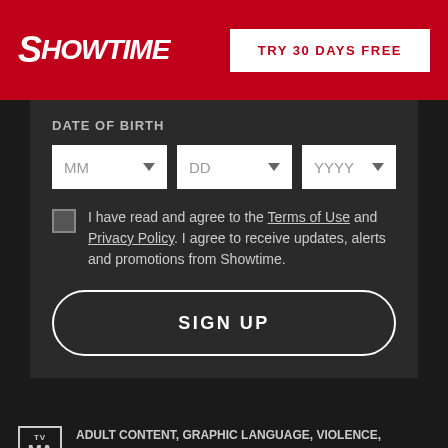[Figure (logo): Showtime logo in white text on red header background]
TRY 30 DAYS FREE
DATE OF BIRTH
MM
DD
YYYY
I have read and agree to the Terms of Use and Privacy Policy. I agree to receive updates, alerts and promotions from Showtime.
SIGN UP
ADULT CONTENT, GRAPHIC LANGUAGE, VIOLENCE, NUDITY, VIEWER DISCRETION ADVISED.
The Chi © Twentieth Century Fox Film Corporation. All Rights Reserved..